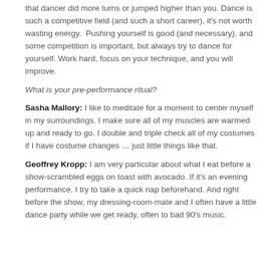that dancer did more turns or jumped higher than you. Dance is such a competitive field (and such a short career), it's not worth wasting energy.  Pushing yourself is good (and necessary), and some competition is important, but always try to dance for yourself. Work hard, focus on your technique, and you will improve.
What is your pre-performance ritual?
Sasha Mallory: I like to meditate for a moment to center myself in my surroundings. I make sure all of my muscles are warmed up and ready to go. I double and triple check all of my costumes if I have costume changes … just little things like that.
Geoffrey Kropp: I am very particular about what I eat before a show-scrambled eggs on toast with avocado. If it's an evening performance, I try to take a quick nap beforehand. And right before the show, my dressing-room-mate and I often have a little dance party while we get ready, often to bad 90's music.